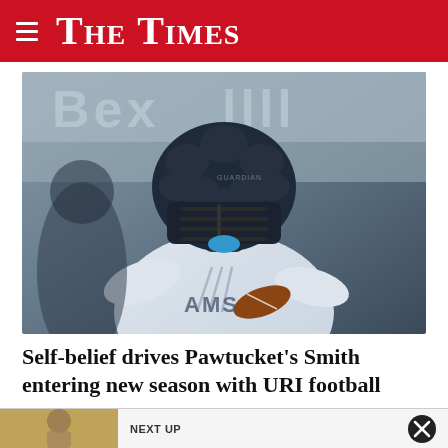The Times
[Figure (photo): A football player in a white Rams uniform with an Adidas logo, wearing a navy blue padded Guardian helmet cap over a standard football helmet with a dark face mask and blue mouthguard, running with the ball during a game. A blurred teammate and crowd/signage visible in background.]
Self-belief drives Pawtucket's Smith entering new season with URI football program
[Figure (photo): Partially visible next article thumbnail image showing a person, labeled NEXT UP]